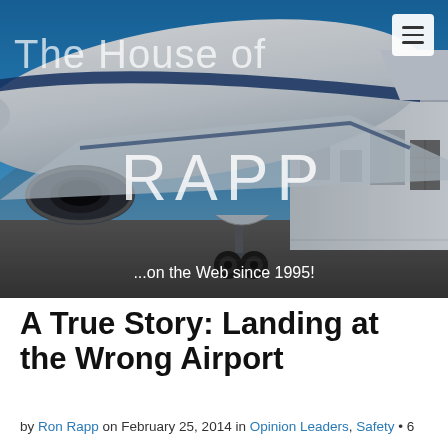[Figure (photo): Header photo of a business jet aircraft on a tarmac in front of a hangar building, blue sky background. Overlaid with site title 'The House of Rapp' in white text and tagline '...on the Web since 1995!']
A True Story: Landing at the Wrong Airport
by Ron Rapp on February 25, 2014 in Opinion Leaders, Safety • 6